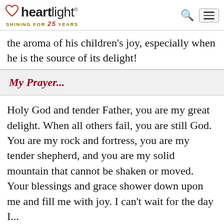heartlight® — SHINING FOR 25 YEARS
the aroma of his children's joy, especially when he is the source of its delight!
My Prayer...
Holy God and tender Father, you are my great delight. When all others fail, you are still God. You are my rock and fortress, you are my tender shepherd, and you are my solid mountain that cannot be shaken or moved. Your blessings and grace shower down upon me and fill me with joy. I can't wait for the day I...